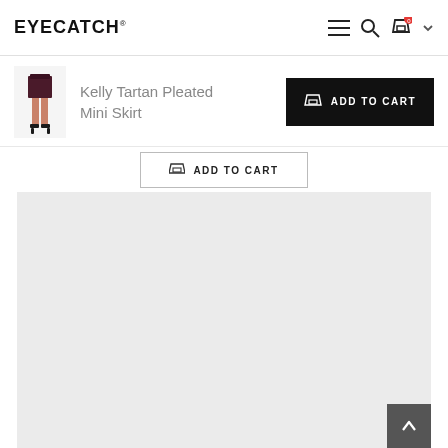EYECATCH®
Kelly Tartan Pleated Mini Skirt
[Figure (photo): Small product thumbnail of a model wearing a dark tartan mini skirt with heels]
ADD TO CART
ADD TO CART
[Figure (photo): Large light grey product image area, partially visible, showing a zoomed fashion photo]